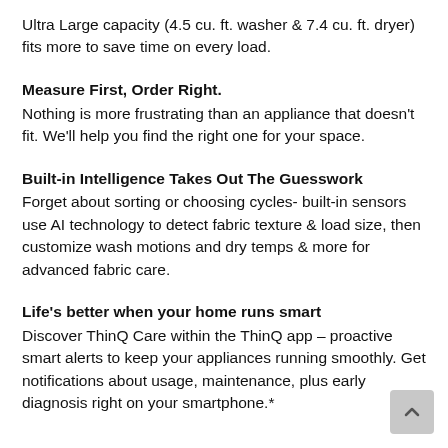Ultra Large capacity (4.5 cu. ft. washer & 7.4 cu. ft. dryer) fits more to save time on every load.
Measure First, Order Right.
Nothing is more frustrating than an appliance that doesn't fit. We'll help you find the right one for your space.
Built-in Intelligence Takes Out The Guesswork
Forget about sorting or choosing cycles- built-in sensors use AI technology to detect fabric texture & load size, then customize wash motions and dry temps & more for advanced fabric care.
Life's better when your home runs smart
Discover ThinQ Care within the ThinQ app – proactive smart alerts to keep your appliances running smoothly. Get notifications about usage, maintenance, plus early diagnosis right on your smartphone.*